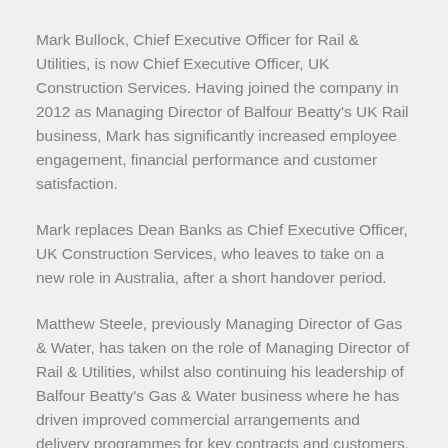Mark Bullock, Chief Executive Officer for Rail & Utilities, is now Chief Executive Officer, UK Construction Services. Having joined the company in 2012 as Managing Director of Balfour Beatty's UK Rail business, Mark has significantly increased employee engagement, financial performance and customer satisfaction.
Mark replaces Dean Banks as Chief Executive Officer, UK Construction Services, who leaves to take on a new role in Australia, after a short handover period.
Matthew Steele, previously Managing Director of Gas & Water, has taken on the role of Managing Director of Rail & Utilities, whilst also continuing his leadership of Balfour Beatty's Gas & Water business where he has driven improved commercial arrangements and delivery programmes for key contracts and customers.
In the US, Leon Blondin, Chief Executive of US Buildings is promoted to Chief Executive Officer, US Operations, having transformed US buildings into one of Balfour Beatty's highest